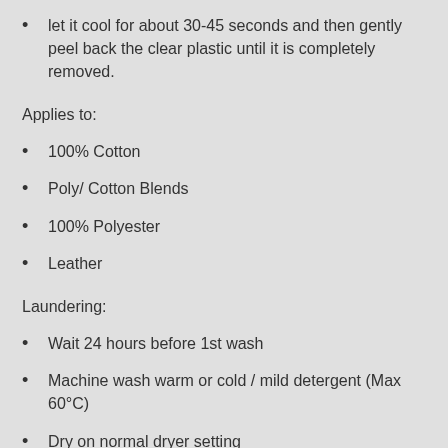let it cool for about 30-45 seconds and then gently peel back the clear plastic until it is completely removed.
Applies to:
100% Cotton
Poly/ Cotton Blends
100% Polyester
Leather
Laundering:
Wait 24 hours before 1st wash
Machine wash warm or cold / mild detergent (Max 60°C)
Dry on normal dryer setting